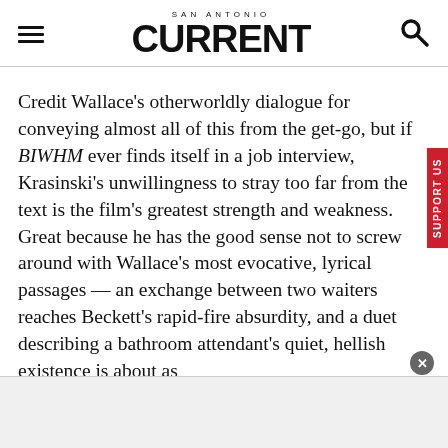SAN ANTONIO CURRENT
Credit Wallace’s otherworldly dialogue for conveying almost all of this from the get-go, but if BIWHM ever finds itself in a job interview, Krasinski’s unwillingness to stray too far from the text is the film’s greatest strength and weakness. Great because he has the good sense not to screw around with Wallace’s most evocative, lyrical passages — an exchange between two waiters reaches Beckett’s rapid-fire absurdity, and a duet describing a bathroom attendant’s quiet, hellish existence is about as